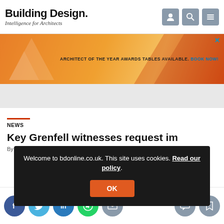Building Design. Intelligence for Architects
[Figure (infographic): Advertisement banner: Architect of the Year Awards Tables Available. Book Now! Orange and red geometric design.]
NEWS
Key Grenfell witnesses request immunity from government
By
Welcome to bdonline.co.uk. This site uses cookies. Read our policy. OK